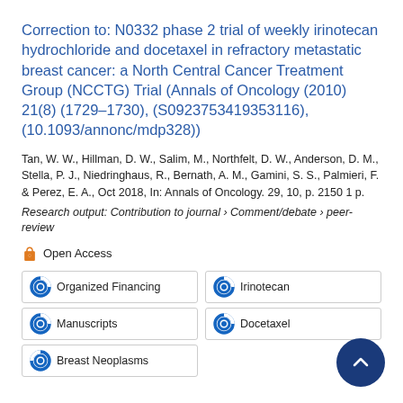Correction to: N0332 phase 2 trial of weekly irinotecan hydrochloride and docetaxel in refractory metastatic breast cancer: a North Central Cancer Treatment Group (NCCTG) Trial (Annals of Oncology (2010) 21(8) (1729–1730), (S0923753419353116), (10.1093/annonc/mdp328))
Tan, W. W., Hillman, D. W., Salim, M., Northfelt, D. W., Anderson, D. M., Stella, P. J., Niedringhaus, R., Bernath, A. M., Gamini, S. S., Palmieri, F. & Perez, E. A., Oct 2018, In: Annals of Oncology. 29, 10, p. 2150 1 p.
Research output: Contribution to journal › Comment/debate › peer-review
Open Access
Organized Financing
Irinotecan
Manuscripts
Docetaxel
Breast Neoplasms